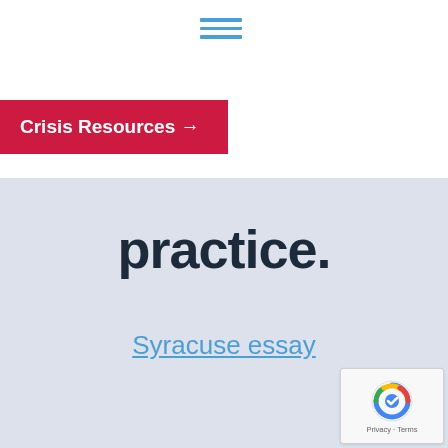[Figure (other): Hamburger menu icon with three horizontal blue lines]
Crisis Resources →
practice.
Syracuse essay
[Figure (other): reCAPTCHA logo with Privacy and Terms links]